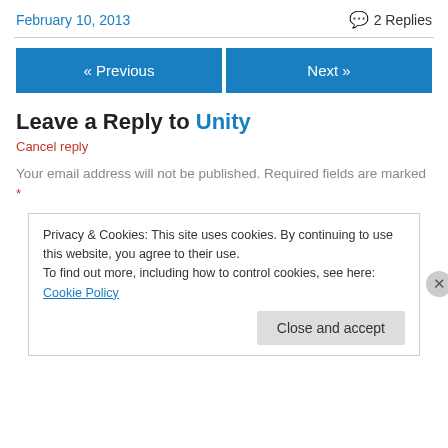February 10, 2013   💬 2 Replies
Leave a Reply to Unity
Cancel reply
Your email address will not be published. Required fields are marked *
Privacy & Cookies: This site uses cookies. By continuing to use this website, you agree to their use.
To find out more, including how to control cookies, see here: Cookie Policy
Close and accept